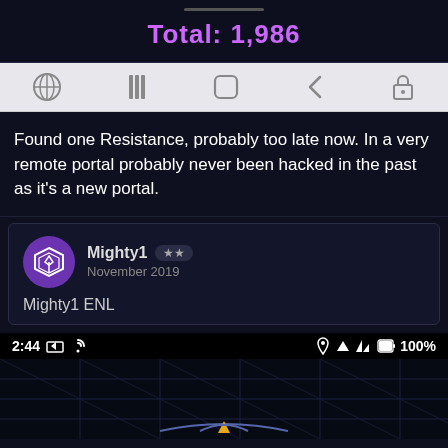Total: 1,986
[Figure (screenshot): Android navigation bar with icons: globe/network, three vertical lines, square/home, back arrow, lock]
Found one Resistance, probably too late now. In a very remote portal probably never been hacked in the past as it's a new portal.
Mighty1  ★★
November 2019

Mighty1 ENL
[Figure (screenshot): Android status bar showing time 2:44, notification icons, and battery 100%, followed by dark map grid view]